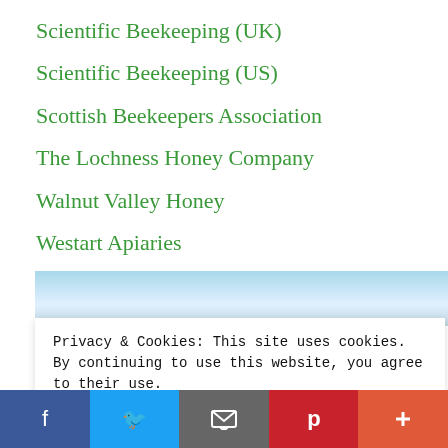Scientific Beekeeping (UK)
Scientific Beekeeping (US)
Scottish Beekeepers Association
The Lochness Honey Company
Walnut Valley Honey
Westart Apiaries
[Figure (photo): Sky/clouds background image partially visible behind cookie banner]
Privacy & Cookies: This site uses cookies. By continuing to use this website, you agree to their use.
To find out more, including how to control cookies, see here: Cookie Policy
Facebook | Twitter | Email | Pinterest | More